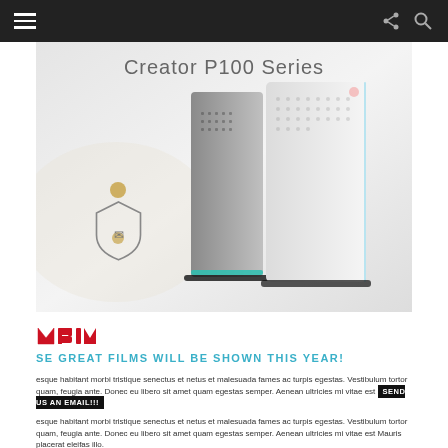Navigation bar with hamburger menu, share icon, and search icon
[Figure (photo): MSI Creator P100 Series desktop PC product photo showing two tower computers — one dark gray/silver and one white — against a light background with the MSI dragon shield logo. Text 'Creator P100 Series' appears above the PCs.]
[Figure (logo): Red stylized brand logo text resembling 'MSI' or similar brand mark in red]
SE GREAT FILMS WILL BE SHOWN THIS YEAR!
esque habitant morbi tristique senectus et netus et malesuada fames ac turpis egestas. Vestibulum tortor quam, feugia ante. Donec eu libero sit amet quam egestas semper. Aenean ultricies mi vitae est SEND US AN EMAIL!!!
esque habitant morbi tristique senectus et netus et malesuada fames ac turpis egestas. Vestibulum tortor quam, feugia ante. Donec eu libero sit amet quam egestas semper. Aenean ultricies mi vitae est Mauris placerat eleifas illo.